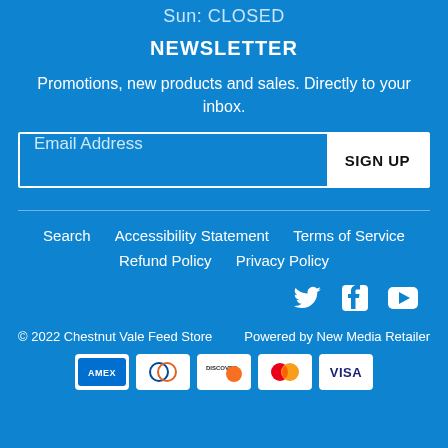Sun: CLOSED
NEWSLETTER
Promotions, new products and sales. Directly to your inbox.
Email Address  SIGN UP
Search   Accessibility Statement   Terms of Service
Refund Policy   Privacy Policy
[Figure (other): Social media icons: Twitter, Facebook, YouTube]
© 2022 Chestnut Vale Feed Store    Powered by New Media Retailer
[Figure (other): Payment method icons: Amex, Diners Club, Discover, Mastercard, Visa]